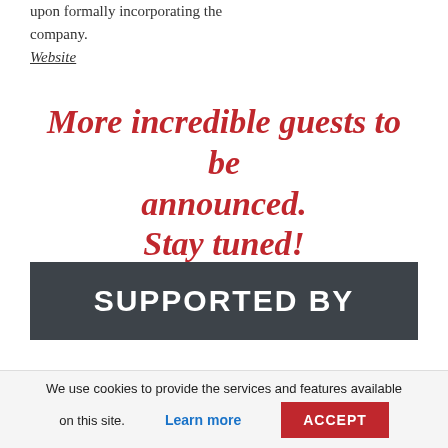upon formally incorporating the company.
Website
More incredible guests to be announced. Stay tuned!
SUPPORTED BY
We use cookies to provide the services and features available on this site.
Learn more
ACCEPT